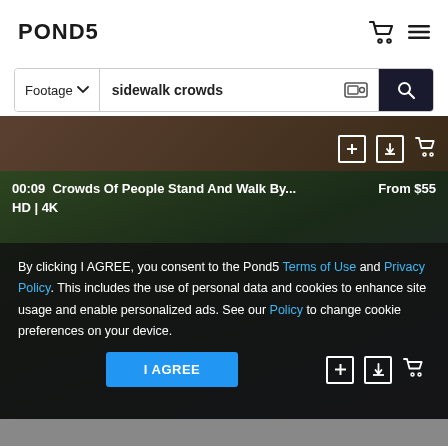POND5
[Figure (screenshot): Search bar with 'Footage' dropdown and 'sidewalk crowds' text input, with image search icon and search button]
[Figure (screenshot): Top of a video thumbnail strip showing crowd footage with overlay icons (add to list, download, cart)]
[Figure (screenshot): Video card: 00:09 Crowds Of People Stand And Walk By... From $55, HD | 4K, with cookie consent overlay]
By clicking I AGREE, you consent to the Pond5 Terms of Use and Privacy Policy. This includes the use of personal data and cookies to enhance site usage and enable personalized ads. See our Policy to change cookie preferences on your device.
I AGREE